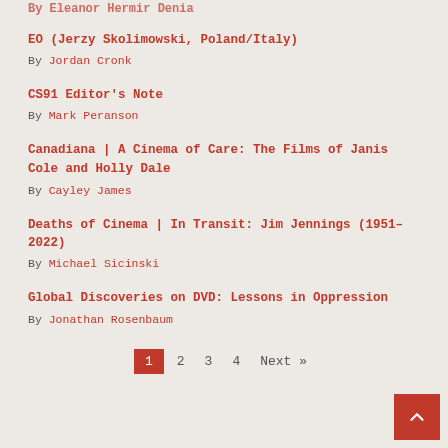By [author name partially visible at top]
EO (Jerzy Skolimowski, Poland/Italy)
By Jordan Cronk
CS91 Editor's Note
By Mark Peranson
Canadiana | A Cinema of Care: The Films of Janis Cole and Holly Dale
By Cayley James
Deaths of Cinema | In Transit: Jim Jennings (1951–2022)
By Michael Sicinski
Global Discoveries on DVD: Lessons in Oppression
By Jonathan Rosenbaum
Pagination: 1 2 3 4 Next »